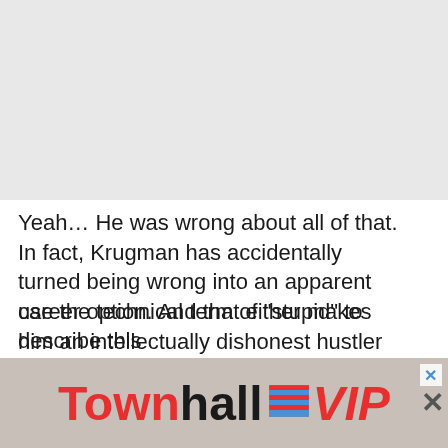[Figure (other): Gray placeholder area at top of page, likely an image or advertisement placeholder]
Yeah… He was wrong about all of that. In fact, Krugman has accidentally turned being wrong into an apparent career option. And that either makes him an intellectually dishonest hustler (read: conman), or he is woefully underequipped (intellectually) to tackle the concept of—
[Figure (other): TownhallVIP advertisement banner with red and black text on textured gray background]
use the technical term of "stupid" to describe this